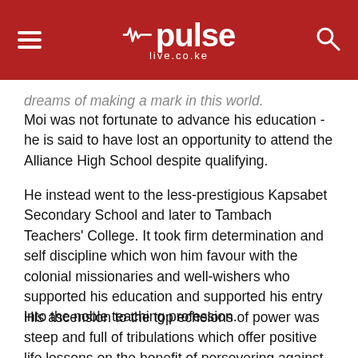pulse live.co.ke
dreams of making a mark in this world.
Moi was not fortunate to advance his education - he is said to have lost an opportunity to attend the Alliance High School despite qualifying.
He instead went to the less-prestigious Kapsabet Secondary School and later to Tambach Teachers' College. It took firm determination and self discipline which won him favour with the colonial missionaries and well-wishers who supported his education and supported his entry into the noble teaching profession.
His ascension to the top echelons of power was steep and full of tribulations which offer positive life lessons on the benefit of persevering against the many odds in our lives which may appear insurmountable.